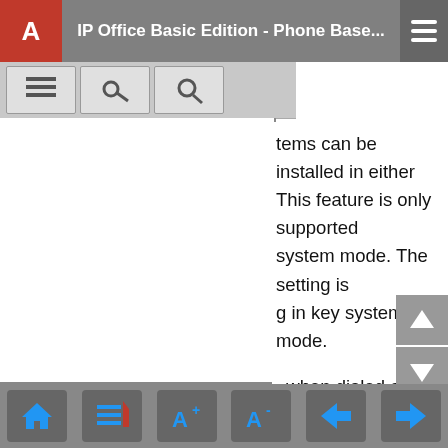IP Office Basic Edition - Phone Base...
tems can be installed in either This feature is only supported system mode. The setting is g in key system mode.
, when dialed as the first digit, d to be external and should be ning dialed digits against the
the system locale. 9 is the n the Locale setting of United or systems with the Locale es default to no external